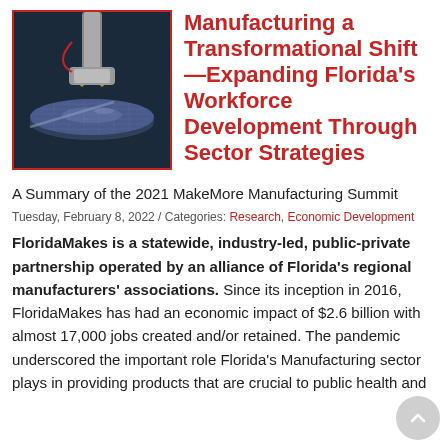[Figure (photo): Close-up photo of semiconductor manufacturing equipment — a wafer being processed by precision machinery with metallic components.]
Manufacturing a Transformational Shift—Expanding Florida's Workforce Development Through Sector Strategies
A Summary of the 2021 MakeMore Manufacturing Summit
Tuesday, February 8, 2022 / Categories: Research, Economic Development
FloridaMakes is a statewide, industry-led, public-private partnership operated by an alliance of Florida's regional manufacturers' associations. Since its inception in 2016, FloridaMakes has had an economic impact of $2.6 billion with almost 17,000 jobs created and/or retained. The pandemic underscored the important role Florida's Manufacturing sector plays in providing products that are crucial to public health and